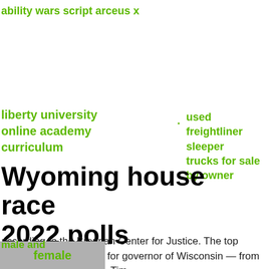ability wars script arceus x
liberty university online academy curriculum
used freightliner sleeper trucks for sale by owner
Wyoming house race 2022 polls
according to the Brennan Center for Justice. The top Republican candidates for governor of Wisconsin — from left, Rebecca Kleefisch, Tim male and
female